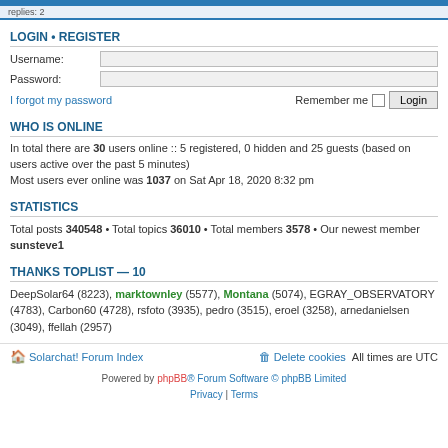LOGIN • REGISTER
Username:
Password:
I forgot my password   Remember me  Login
WHO IS ONLINE
In total there are 30 users online :: 5 registered, 0 hidden and 25 guests (based on users active over the past 5 minutes)
Most users ever online was 1037 on Sat Apr 18, 2020 8:32 pm
STATISTICS
Total posts 340548 • Total topics 36010 • Total members 3578 • Our newest member sunsteve1
THANKS TOPLIST — 10
DeepSolar64 (8223), marktownley (5577), Montana (5074), EGRAY_OBSERVATORY (4783), Carbon60 (4728), rsfoto (3935), pedro (3515), eroel (3258), arnedanielsen (3049), ffellah (2957)
🏠 Solarchat! Forum Index     🗑 Delete cookies   All times are UTC
Powered by phpBB® Forum Software © phpBB Limited
Privacy | Terms